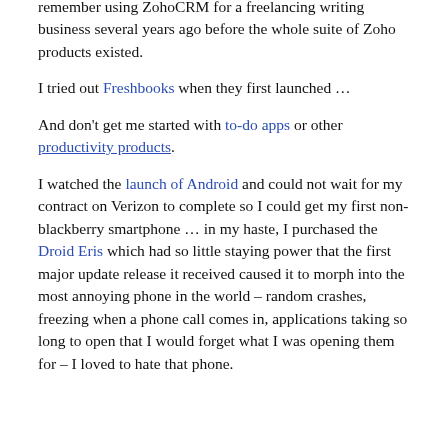remember using ZohoCRM for a freelancing writing business several years ago before the whole suite of Zoho products existed.
I tried out Freshbooks when they first launched …
And don't get me started with to-do apps or other productivity products.
I watched the launch of Android and could not wait for my contract on Verizon to complete so I could get my first non-blackberry smartphone … in my haste, I purchased the Droid Eris which had so little staying power that the first major update release it received caused it to morph into the most annoying phone in the world – random crashes, freezing when a phone call comes in, applications taking so long to open that I would forget what I was opening them for – I loved to hate that phone.